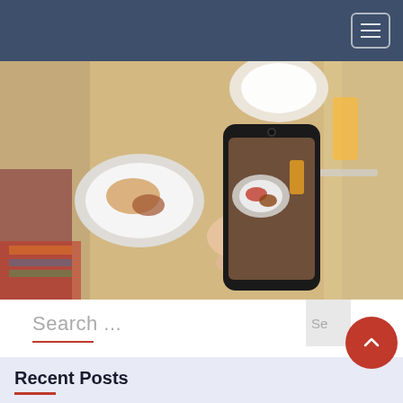Navigation header with hamburger menu
[Figure (photo): Person photographing food on a restaurant table with a smartphone. The phone screen shows the food being photographed — various plates, drinks on a wooden table.]
Search ...
Recent Posts